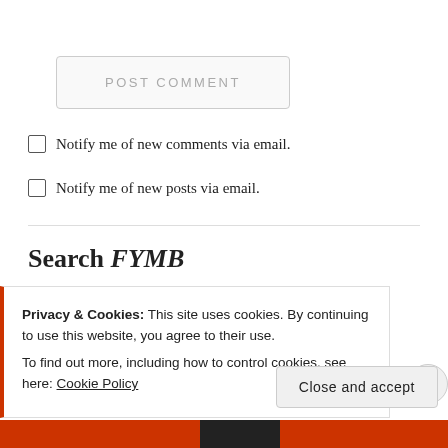POST COMMENT
Notify me of new comments via email.
Notify me of new posts via email.
Search FYMB
Privacy & Cookies: This site uses cookies. By continuing to use this website, you agree to their use.
To find out more, including how to control cookies, see here: Cookie Policy
Close and accept